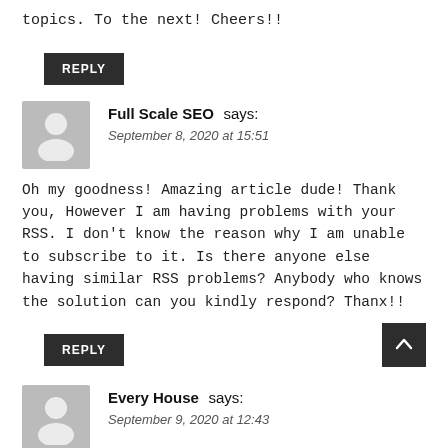topics. To the next! Cheers!!
REPLY
Full Scale SEO says:
September 8, 2020 at 15:51
Oh my goodness! Amazing article dude! Thank you, However I am having problems with your RSS. I don't know the reason why I am unable to subscribe to it. Is there anyone else having similar RSS problems? Anybody who knows the solution can you kindly respond? Thanx!!
REPLY
Every House says:
September 9, 2020 at 12:43